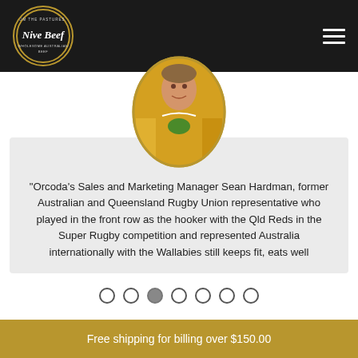[Figure (logo): Nive Beef circular logo with gold border on dark background]
[Figure (photo): Oval-framed photo of Sean Hardman, former Australian and Queensland Rugby Union representative, wearing yellow Australian rugby jersey]
“Orcoda’s Sales and Marketing Manager Sean Hardman, former Australian and Queensland Rugby Union representative who played in the front row as the hooker with the Qld Reds in the Super Rugby competition and represented Australia internationally with the Wallabies still keeps fit, eats well
[Figure (other): Slideshow navigation dots, 7 total, third one filled/active]
Free shipping for billing over $150.00